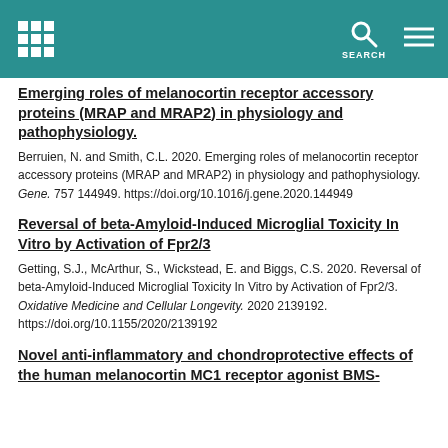SEARCH
Emerging roles of melanocortin receptor accessory proteins (MRAP and MRAP2) in physiology and pathophysiology.
Berruien, N. and Smith, C.L. 2020. Emerging roles of melanocortin receptor accessory proteins (MRAP and MRAP2) in physiology and pathophysiology. Gene. 757 144949. https://doi.org/10.1016/j.gene.2020.144949
Reversal of beta-Amyloid-Induced Microglial Toxicity In Vitro by Activation of Fpr2/3
Getting, S.J., McArthur, S., Wickstead, E. and Biggs, C.S. 2020. Reversal of beta-Amyloid-Induced Microglial Toxicity In Vitro by Activation of Fpr2/3. Oxidative Medicine and Cellular Longevity. 2020 2139192. https://doi.org/10.1155/2020/2139192
Novel anti-inflammatory and chondroprotective effects of the human melanocortin MC1 receptor agonist BMS-